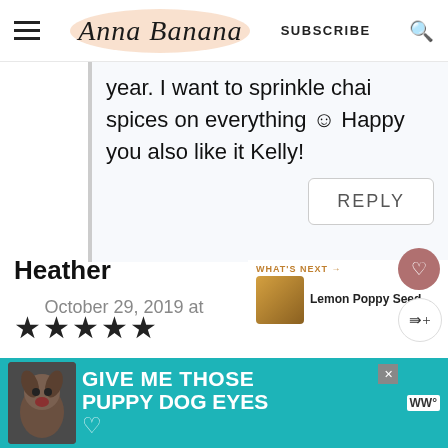Anna Banana — SUBSCRIBE
year. I want to sprinkle chai spices on everything ☺ Happy you also like it Kelly!
REPLY
Heather
October 29, 2019 at
[Figure (other): Five filled star rating icons]
[Figure (infographic): Advertisement banner: GIVE ME THOSE PUPPY DOG EYES with dog image on teal background]